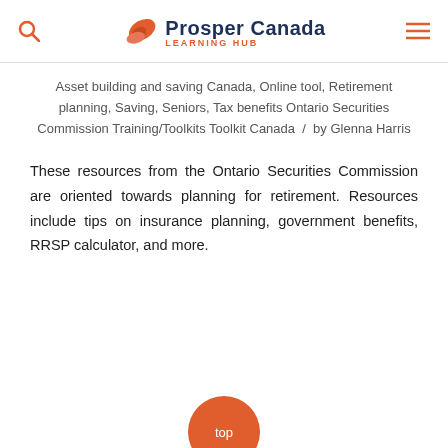Prosper Canada LEARNING HUB
Asset building and saving Canada, Online tool, Retirement planning, Saving, Seniors, Tax benefits Ontario Securities Commission Training/Toolkits Toolkit Canada / by Glenna Harris
These resources from the Ontario Securities Commission are oriented towards planning for retirement. Resources include tips on insurance planning, government benefits, RRSP calculator, and more.